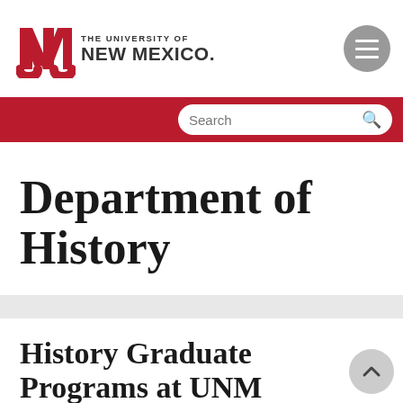THE UNIVERSITY OF NEW MEXICO.
Department of History
History Graduate Programs at UNM
The history